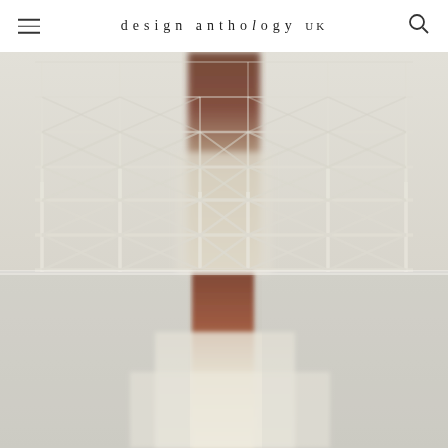design anthology UK
[Figure (photo): A person wearing a cream/white dress stands behind a geometric grid/lattice structure made of clear acrylic or glass rods forming triangular and rectangular patterns. The upper portion shows the grid in detail with the person's arm and torso visible through it. The lower portion shows the person's lower arm and flowing cream dress more clearly against a pale background. The overall color palette is white, cream, and warm neutral tones.]